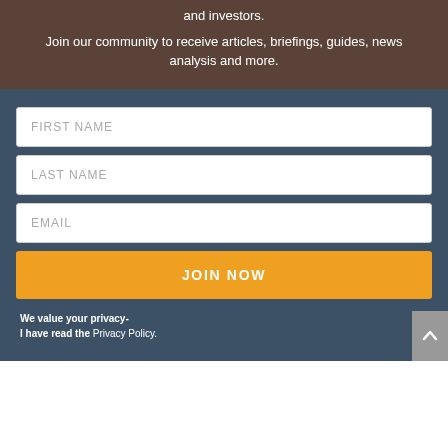and investors. Join our community to receive articles, briefings, guides, news analysis and more.
FIRST NAME
LAST NAME
EMAIL
JOIN NOW
We value your privacy- I have read the Privacy Policy.